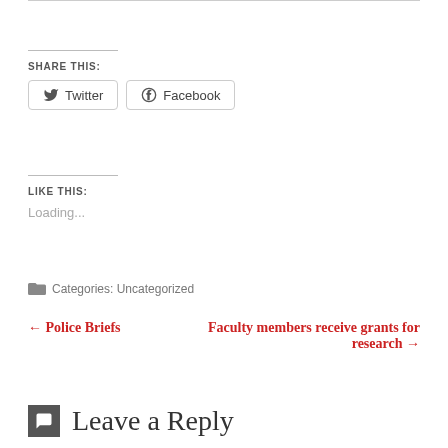SHARE THIS:
Twitter   Facebook
LIKE THIS:
Loading...
Categories: Uncategorized
← Police Briefs
Faculty members receive grants for research →
Leave a Reply